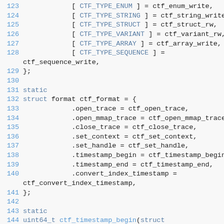[Figure (screenshot): Source code listing lines 123-144, showing C code with line numbers in blue and keywords/function names highlighted. The code defines arrays and structs for CTF format operations including type handlers and format function pointers.]